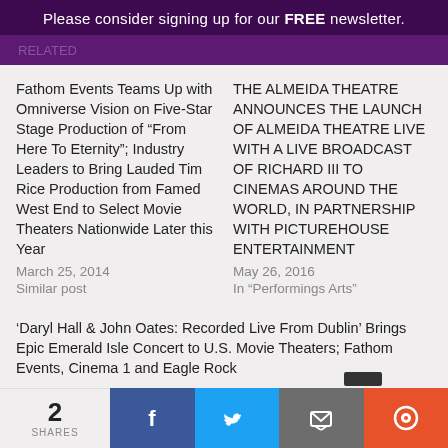Please consider signing up for our FREE newsletter.
Fathom Events Teams Up with Omniverse Vision on Five-Star Stage Production of “From Here To Eternity”; Industry Leaders to Bring Lauded Tim Rice Production from Famed West End to Select Movie Theaters Nationwide Later this Year
March 25, 2014
Similar post
THE ALMEIDA THEATRE ANNOUNCES THE LAUNCH OF ALMEIDA THEATRE LIVE WITH A LIVE BROADCAST OF RICHARD III TO CINEMAS AROUND THE WORLD, IN PARTNERSHIP WITH PICTUREHOUSE ENTERTAINMENT
May 26, 2016
In "Performings Arts"
‘Daryl Hall & John Oates: Recorded Live From Dublin’ Brings Epic Emerald Isle Concert to U.S. Movie Theaters; Fathom Events, Cinema 1 and Eagle Rock
2 SHARES